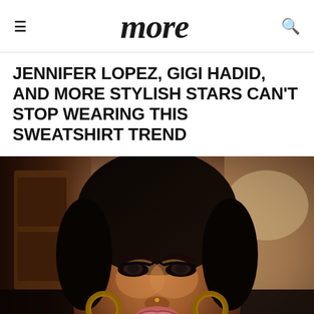more
JENNIFER LOPEZ, GIGI HADID, AND MORE STYLISH STARS CAN'T STOP WEARING THIS SWEATSHIRT TREND
[Figure (photo): Close-up selfie of a young Black woman with dark hair pulled back, wearing gold hoop earrings and glamorous makeup including cat-eye liner, posing with lips pursed, indoor background with wooden cabinets]